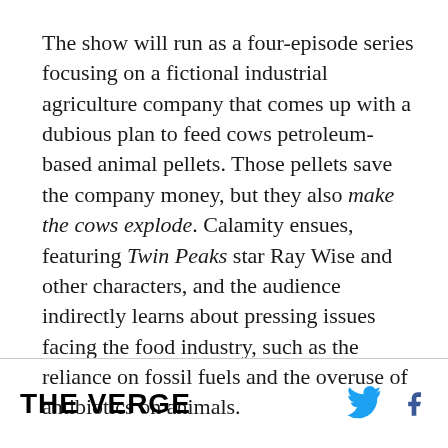The show will run as a four-episode series focusing on a fictional industrial agriculture company that comes up with a dubious plan to feed cows petroleum-based animal pellets. Those pellets save the company money, but they also make the cows explode. Calamity ensues, featuring Twin Peaks star Ray Wise and other characters, and the audience indirectly learns about pressing issues facing the food industry, such as the reliance on fossil fuels and the overuse of antibiotics on animals.
THE VERGE [twitter] [facebook]